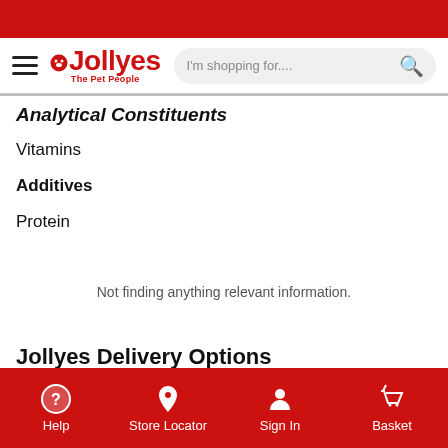Jollyes - The Pet People
Analytical Constituents
Vitamins
Additives
Protein
Not finding anything relevant information.
Jollyes Delivery Options
Help | Store Locator | Sign In | Basket